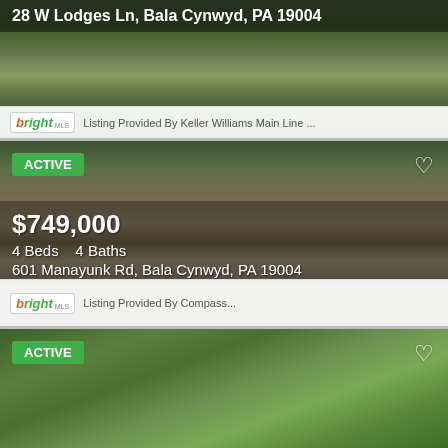[Figure (photo): Aerial/garden view of property at 28 W Lodges Ln, Bala Cynwyd]
28 W Lodges Ln, Bala Cynwyd, PA 19004
Listing Provided By Keller Williams Main Line ...
[Figure (photo): Exterior photo of stone house at 601 Manayunk Rd with trees]
ACTIVE
$749,000
4 Beds    4 Baths
601 Manayunk Rd, Bala Cynwyd, PA 19004
Listing Provided By Compass...
[Figure (photo): Garden/arbor path photo of third listing]
ACTIVE